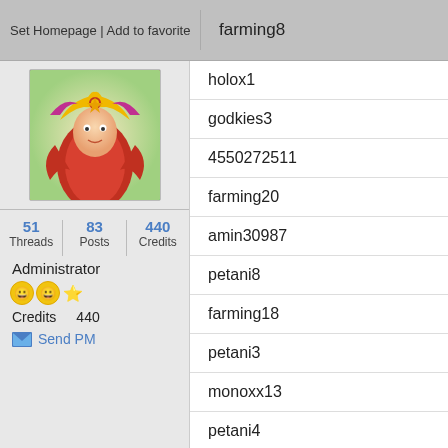Set Homepage | Add to favorite
farming8
[Figure (illustration): Game character avatar — colorful fantasy warrior with golden headdress and red armor]
51 Threads  83 Posts  440 Credits
Administrator
Credits  440
Send PM
holox1
godkies3
4550272511
farming20
amin30987
petani8
farming18
petani3
monoxx13
petani4
kiszkar
kiszkar4
kiszkar3